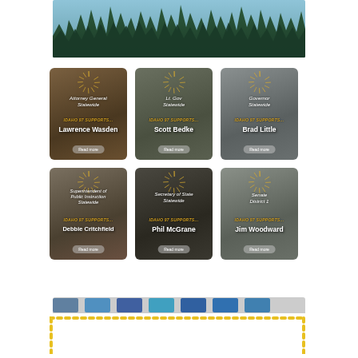[Figure (photo): Forest banner image showing tall evergreen pine trees against a sky background]
[Figure (photo): Candidate card - Attorney General, Statewide. IDAHO 97 SUPPORTS... Lawrence Wasden. Read more button.]
[Figure (photo): Candidate card - Lt. Gov, Statewide. IDAHO 97 SUPPORTS... Scott Bedke. Read more button.]
[Figure (photo): Candidate card - Governor, Statewide. IDAHO 97 SUPPORTS... Brad Little. Read more button.]
[Figure (photo): Candidate card - Superintendent of Public Instruction, Statewide. IDAHO 97 SUPPORTS... Debbie Critchfield. Read more button.]
[Figure (photo): Candidate card - Secretary of State, Statewide. IDAHO 97 SUPPORTS... Phil McGrane. Read more button.]
[Figure (photo): Candidate card - Senate District 1. IDAHO 97 SUPPORTS... Jim Woodward. Read more button.]
[Figure (other): Partial row of additional candidate card thumbnails - partially visible at bottom of grid]
[Figure (other): Dotted yellow border box at bottom of page - decorative element]